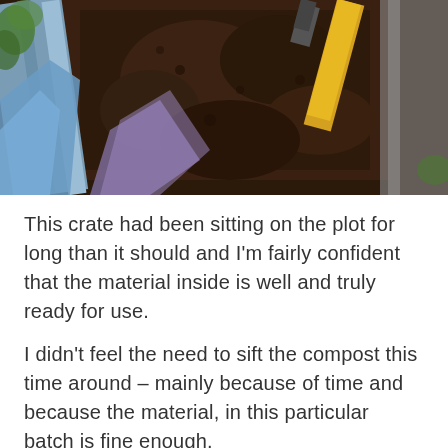[Figure (photo): Overhead view of a wooden crate or compost bin filled with dark brown compost/soil, with blue bags and a yellow-handled tool (fork or rake) visible]
This crate had been sitting on the plot for long than it should and I'm fairly confident that the material inside is well and truly ready for use.
I didn't feel the need to sift the compost this time around – mainly because of time and because the material, in this particular batch is fine enough.